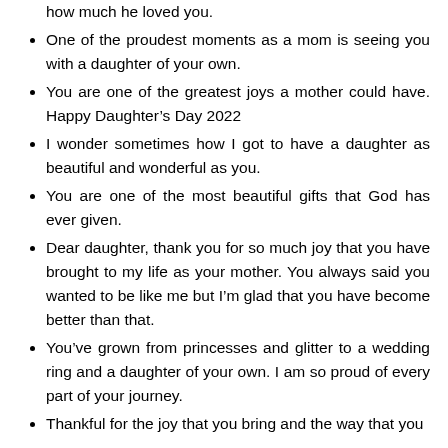how much he loved you.
One of the proudest moments as a mom is seeing you with a daughter of your own.
You are one of the greatest joys a mother could have. Happy Daughter’s Day 2022
I wonder sometimes how I got to have a daughter as beautiful and wonderful as you.
You are one of the most beautiful gifts that God has ever given.
Dear daughter, thank you for so much joy that you have brought to my life as your mother. You always said you wanted to be like me but I’m glad that you have become better than that.
You’ve grown from princesses and glitter to a wedding ring and a daughter of your own. I am so proud of every part of your journey.
Thankful for the joy that you bring and the way that you